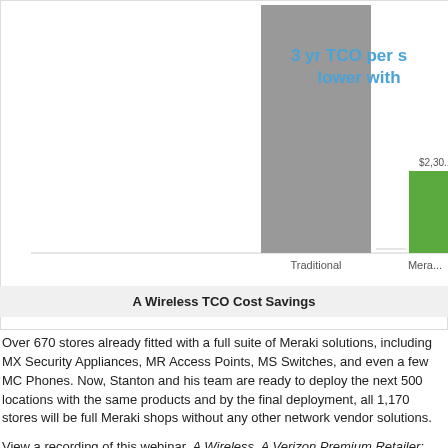[Figure (bar-chart): Partial bar chart showing Traditional (tall gray bar) vs Meraki (shorter green bar) for 3 yr TCO per site. Chart is cropped on right side.]
A Wireless TCO Cost Savings
Over 670 stores already fitted with a full suite of Meraki solutions, including MX Security Appliances, MR Access Points, MS Switches, and even a few MC Phones. Now, Stanton and his team are ready to deploy the next 500 locations with the same products and by the final deployment, all 1,170 stores will be full Meraki shops without any other network vendor solutions.
View a recording of this webinar, A Wireless, A Verizon Premium Retailer: Scaling Nationally with Meraki, here: [Link]